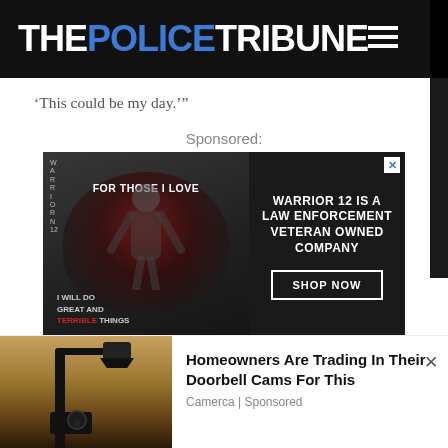[Figure (logo): The Police Tribune website header logo on black background with hamburger menu icon]
‘This could be my day.’”
Sponsored:
[Figure (photo): Warrior 12 advertisement banner showing a black t-shirt with text 'For Those I Love / I Will Do Great And Terrible Things' alongside text 'Warrior 12 is a Law Enforcement Veteran Owned Company' with a Shop Now button]
[Figure (photo): Security camera mounted on an exterior wall/lamp post - bottom advertisement image]
Homeowners Are Trading In Their Doorbell Cams For This
Camerca | Sponsored